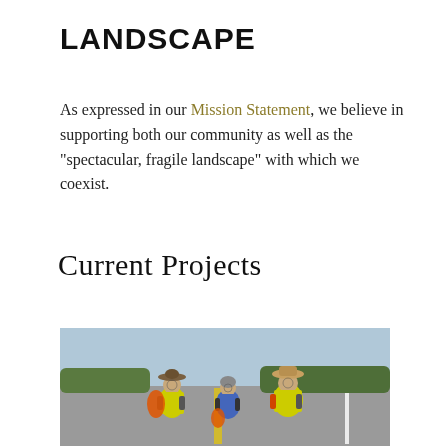LANDSCAPE
As expressed in our Mission Statement, we believe in supporting both our community as well as the “spectacular, fragile landscape” with which we coexist.
Current Projects
[Figure (photo): Three people in safety vests standing on a road. Two wear neon yellow/green vests and one wears a blue vest. Two carry orange trash bags. They are smiling and appear to be participating in a roadside cleanup.]